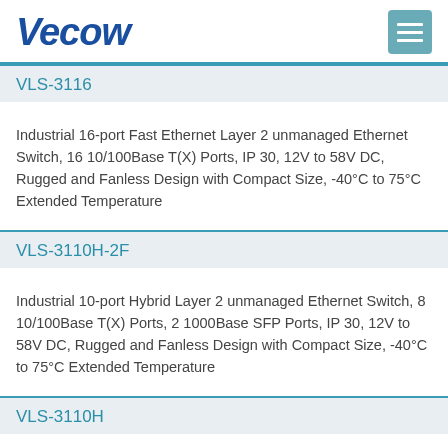Vecow
VLS-3116
Industrial 16-port Fast Ethernet Layer 2 unmanaged Ethernet Switch, 16 10/100Base T(X) Ports, IP 30, 12V to 58V DC, Rugged and Fanless Design with Compact Size, -40°C to 75°C Extended Temperature
VLS-3110H-2F
Industrial 10-port Hybrid Layer 2 unmanaged Ethernet Switch, 8 10/100Base T(X) Ports, 2 1000Base SFP Ports, IP 30, 12V to 58V DC, Rugged and Fanless Design with Compact Size, -40°C to 75°C Extended Temperature
VLS-3110H